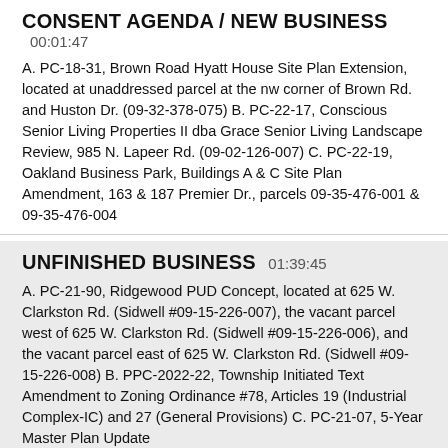CONSENT AGENDA / NEW BUSINESS 00:01:47
A. PC-18-31, Brown Road Hyatt House Site Plan Extension, located at unaddressed parcel at the nw corner of Brown Rd. and Huston Dr. (09-32-378-075) B. PC-22-17, Conscious Senior Living Properties II dba Grace Senior Living Landscape Review, 985 N. Lapeer Rd. (09-02-126-007) C. PC-22-19, Oakland Business Park, Buildings A & C Site Plan Amendment, 163 & 187 Premier Dr., parcels 09-35-476-001 & 09-35-476-004
UNFINISHED BUSINESS 01:39:45
A. PC-21-90, Ridgewood PUD Concept, located at 625 W. Clarkston Rd. (Sidwell #09-15-226-007), the vacant parcel west of 625 W. Clarkston Rd. (Sidwell #09-15-226-006), and the vacant parcel east of 625 W. Clarkston Rd. (Sidwell #09-15-226-008) B. PPC-2022-22, Township Initiated Text Amendment to Zoning Ordinance #78, Articles 19 (Industrial Complex-IC) and 27 (General Provisions) C. PC-21-07, 5-Year Master Plan Update
PUBLIC COMMENTS / COMMUNICATIONS